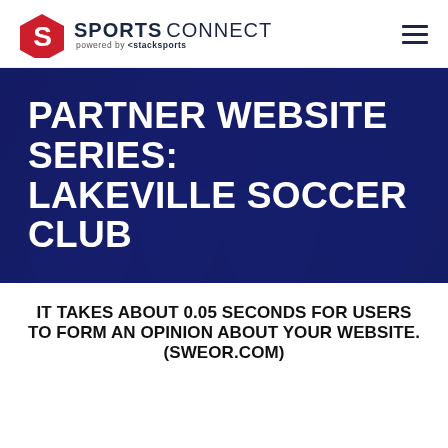SPORTS CONNECT powered by stack sports
[Figure (screenshot): Sports Connect logo with red hexagon S icon and dark blue text 'SPORTS CONNECT powered by stack sports']
PARTNER WEBSITE SERIES: LAKEVILLE SOCCER CLUB
IT TAKES ABOUT 0.05 SECONDS FOR USERS TO FORM AN OPINION ABOUT YOUR WEBSITE. (SWEOR.COM)